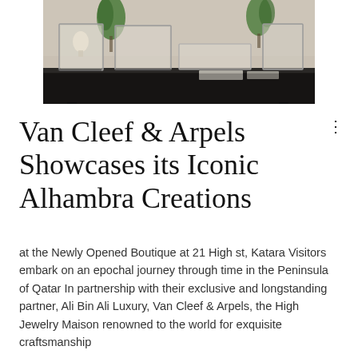[Figure (photo): Interior of a Van Cleef & Arpels jewelry boutique showing glass display cases with jewelry, decorative plants, and a dark display table]
Van Cleef & Arpels Showcases its Iconic Alhambra Creations
at the Newly Opened Boutique at 21 High st, Katara Visitors embark on an epochal journey through time in the Peninsula of Qatar In partnership with their exclusive and longstanding partner, Ali Bin Ali Luxury, Van Cleef & Arpels, the High Jewelry Maison renowned to the world for exquisite craftsmanship